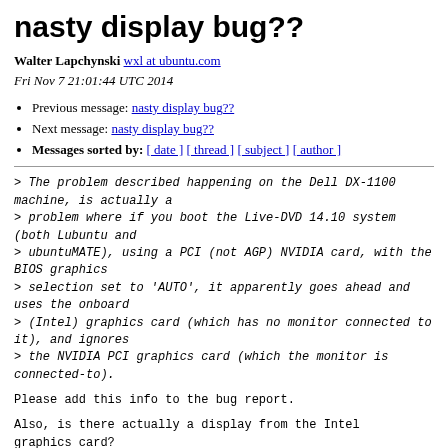nasty display bug??
Walter Lapchynski wxl at ubuntu.com
Fri Nov 7 21:01:44 UTC 2014
Previous message: nasty display bug??
Next message: nasty display bug??
Messages sorted by: [ date ] [ thread ] [ subject ] [ author ]
> The problem described happening on the Dell DX-1100 machine, is actually a
> problem where if you boot the Live-DVD 14.10 system (both Lubuntu and
> ubuntuMATE), using a PCI (not AGP) NVIDIA card, with the BIOS graphics
> selection set to 'AUTO', it apparently goes ahead and uses the onboard
> (Intel) graphics card (which has no monitor connected to it), and ignores
> the NVIDIA PCI graphics card (which the monitor is connected-to).
Please add this info to the bug report.
Also, is there actually a display from the Intel graphics card?